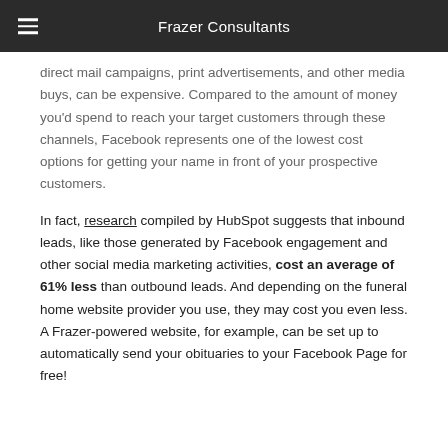Frazer Consultants
direct mail campaigns, print advertisements, and other media buys, can be expensive. Compared to the amount of money you'd spend to reach your target customers through these channels, Facebook represents one of the lowest cost options for getting your name in front of your prospective customers.
In fact, research compiled by HubSpot suggests that inbound leads, like those generated by Facebook engagement and other social media marketing activities, cost an average of 61% less than outbound leads. And depending on the funeral home website provider you use, they may cost you even less. A Frazer-powered website, for example, can be set up to automatically send your obituaries to your Facebook Page for free!